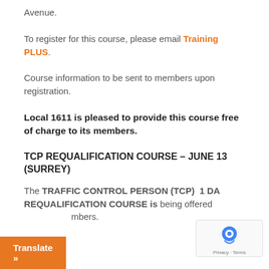Avenue.
To register for this course, please email Training PLUS.
Course information to be sent to members upon registration.
Local 1611 is pleased to provide this course free of charge to its members.
TCP REQUALIFICATION COURSE – JUNE 13 (SURREY)
The TRAFFIC CONTROL PERSON (TCP) 1 DAY REQUALIFICATION COURSE is being offered to members.